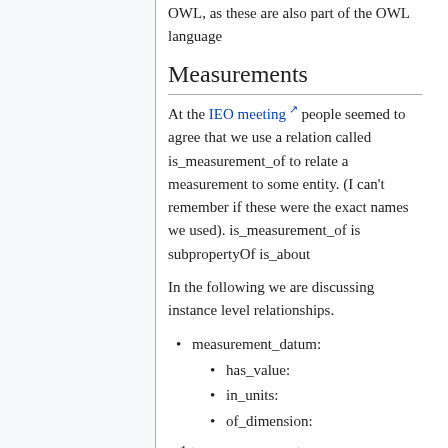OWL, as these are also part of the OWL language
Measurements
At the IEO meeting people seemed to agree that we use a relation called is_measurement_of to relate a measurement to some entity. (I can't remember if these were the exact names we used). is_measurement_of is subpropertyOf is_about
In the following we are discussing instance level relationships.
measurement_datum:
has_value:
in_units:
of_dimension:
m1 type measurement: